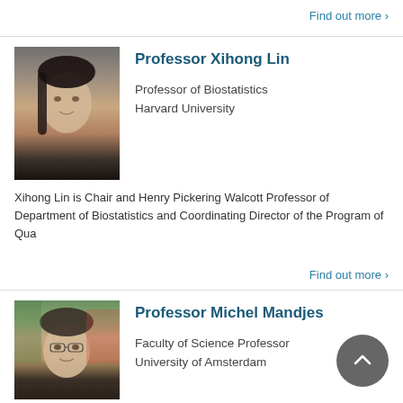Find out more ›
[Figure (photo): Portrait photo of Professor Xihong Lin]
Professor Xihong Lin
Professor of Biostatistics
Harvard University
Xihong Lin is Chair and Henry Pickering Walcott Professor of Department of Biostatistics and Coordinating Director of the Program of Qua
Find out more ›
[Figure (photo): Portrait photo of Professor Michel Mandjes]
Professor Michel Mandjes
Faculty of Science Professor
University of Amsterdam